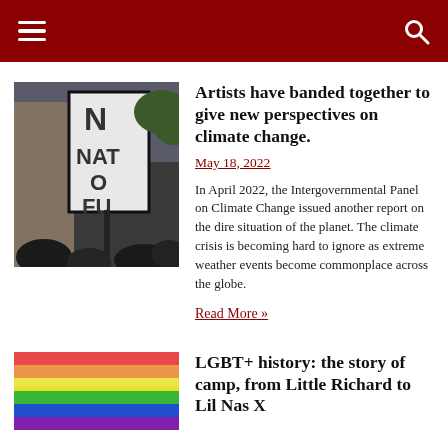Navigation header with hamburger menu and search icon
Artists have banded together to give new perspectives on climate change.
May 18, 2022
In April 2022, the Intergovernmental Panel on Climate Change issued another report on the dire situation of the planet. The climate crisis is becoming hard to ignore as extreme weather events become commonplace across the globe.
Read More »
[Figure (photo): Protest crowd holding a sign reading NAT FU (partially visible), outdoor climate change protest scene]
LGBT+ history: the story of camp, from Little Richard to Lil Nas X
[Figure (photo): Rainbow flag or pride colors — yellow and rainbow colored fabric/flag]